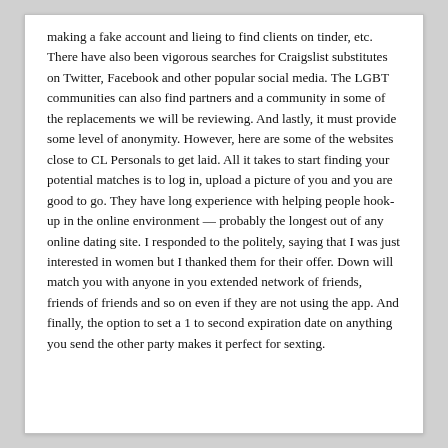making a fake account and lieing to find clients on tinder, etc. There have also been vigorous searches for Craigslist substitutes on Twitter, Facebook and other popular social media. The LGBT communities can also find partners and a community in some of the replacements we will be reviewing. And lastly, it must provide some level of anonymity. However, here are some of the websites close to CL Personals to get laid. All it takes to start finding your potential matches is to log in, upload a picture of you and you are good to go. They have long experience with helping people hook-up in the online environment — probably the longest out of any online dating site. I responded to the politely, saying that I was just interested in women but I thanked them for their offer. Down will match you with anyone in you extended network of friends, friends of friends and so on even if they are not using the app. And finally, the option to set a 1 to second expiration date on anything you send the other party makes it perfect for sexting.